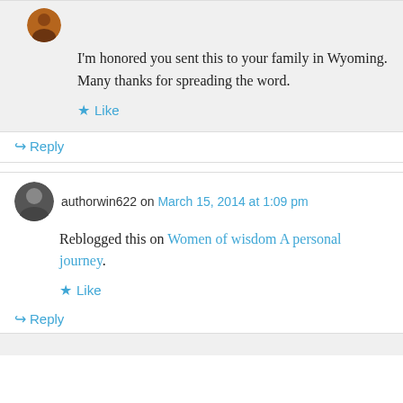I'm honored you sent this to your family in Wyoming. Many thanks for spreading the word.
★ Like
↳ Reply
authorwin622 on March 15, 2014 at 1:09 pm
Reblogged this on Women of wisdom A personal journey.
★ Like
↳ Reply